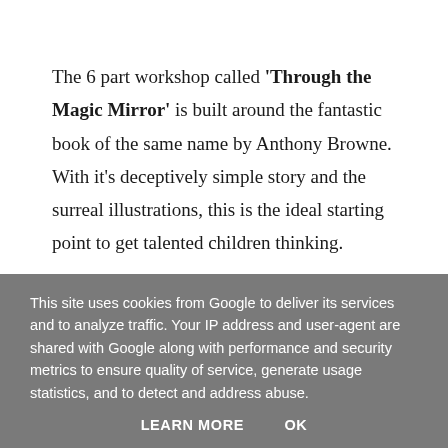The 6 part workshop called 'Through the Magic Mirror' is built around the fantastic book of the same name by Anthony Browne. With it's deceptively simple story and the surreal illustrations, this is the ideal starting point to get talented children thinking.
Created specifically for Gifted and Talented groups, this masterclass is designed to encourage:
This site uses cookies from Google to deliver its services and to analyze traffic. Your IP address and user-agent are shared with Google along with performance and security metrics to ensure quality of service, generate usage statistics, and to detect and address abuse.